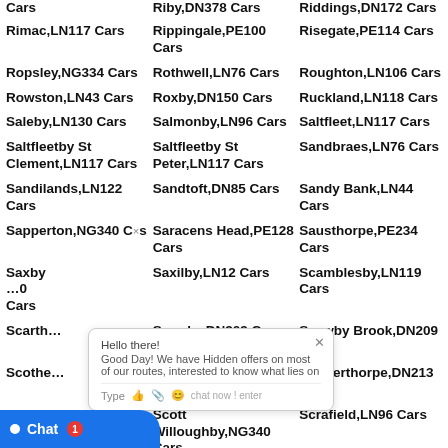Cars
Riby,DN378 Cars
Riddings,DN172 Cars
Rimac,LN117 Cars
Rippingale,PE100 Cars
Risegate,PE114 Cars
Ropsley,NG334 Cars
Rothwell,LN76 Cars
Roughton,LN106 Cars
Rowston,LN43 Cars
Roxby,DN150 Cars
Ruckland,LN118 Cars
Saleby,LN130 Cars
Salmonby,LN96 Cars
Saltfleet,LN117 Cars
Saltfleetby St Clement,LN117 Cars
Saltfleetby St Peter,LN117 Cars
Sandbraes,LN76 Cars
Sandilands,LN122 Cars
Sandtoft,DN85 Cars
Sandy Bank,LN44 Cars
Sapperton,NG340 Cars
Saracens Head,PE128 Cars
Sausthorpe,PE234 Cars
Saxby,LN100 Cars
Saxilby,LN12 Cars
Scamblesby,LN119 Cars
Scarth...
Scawby,DN209 Cars
Scawby Brook,DN209 Cars
Scothe...
Scotter,DN213 Cars
Scotterthorpe,DN213 Cars
S...213 Cars
Scott Willoughby,NG340 Cars
Scrafield,LN96 Cars